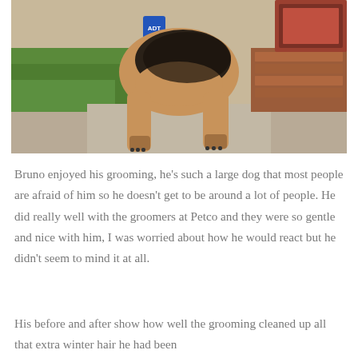[Figure (photo): A large German Shepherd dog standing on a concrete patio/sidewalk near grass. An ADT security sign is visible in the background along with brick steps and a patterned rug. The photo shows the dog's body from the waist down, with tan and black coloring.]
Bruno enjoyed his grooming, he's such a large dog that most people are afraid of him so he doesn't get to be around a lot of people. He did really well with the groomers at Petco and they were so gentle and nice with him, I was worried about how he would react but he didn't seem to mind it at all.
His before and after show how well the grooming cleaned up all that extra winter hair he had been